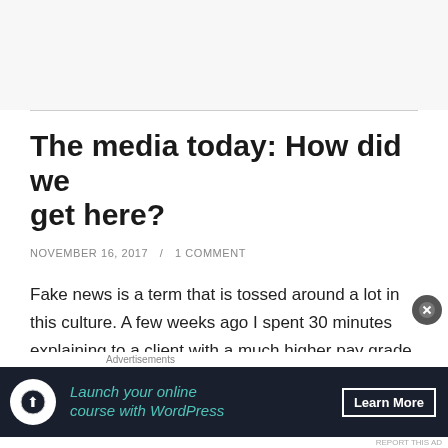The media today: How did we get here?
NOVEMBER 16, 2017  /  1 COMMENT
Fake news is a term that is tossed around a lot in this culture. A few weeks ago I spent 30 minutes explaining to a client with a much higher pay grade than me the
Advertisements
[Figure (other): Advertisement banner: Launch your online course with WordPress — Learn More]